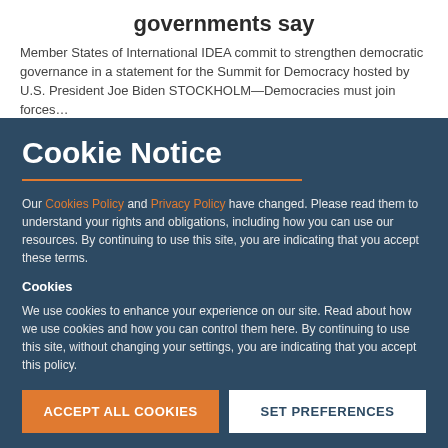governments say
Member States of International IDEA commit to strengthen democratic governance in a statement for the Summit for Democracy hosted by U.S. President Joe Biden STOCKHOLM—Democracies must join forces…
Cookie Notice
Our Cookies Policy and Privacy Policy have changed. Please read them to understand your rights and obligations, including how you can use our resources. By continuing to use this site, you are indicating that you accept these terms.
Cookies
We use cookies to enhance your experience on our site. Read about how we use cookies and how you can control them here. By continuing to use this site, without changing your settings, you are indicating that you accept this policy.
ACCEPT ALL COOKIES
SET PREFERENCES